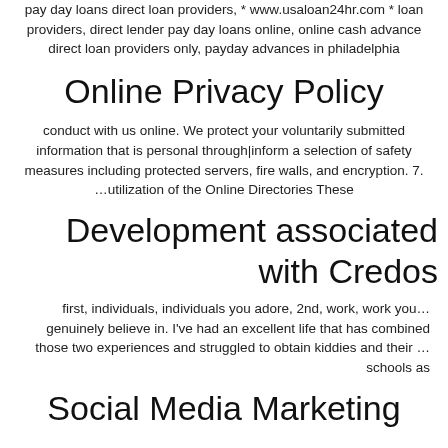pay day loans direct loan providers, * www.usaloan24hr.com * loan providers, direct lender pay day loans online, online cash advance direct loan providers only, payday advances in philadelphia
Online Privacy Policy
conduct with us online. We protect your voluntarily submitted information that is personal through|inform a selection of safety measures including protected servers, fire walls, and encryption. 7. …utilization of the Online Directories These
Development associated with Credos
first, individuals, individuals you adore, 2nd, work, work you… genuinely believe in. I've had an excellent life that has combined those two experiences and struggled to obtain kiddies and their …schools as
Social Media Marketing